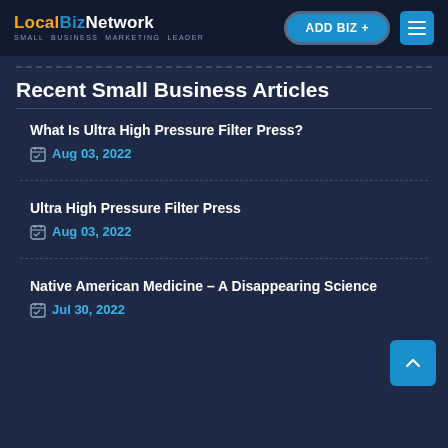LocalBizNetwork — Small Business Marketing Leader | ADD BIZ + | Menu
Recent Small Business Articles
What Is Ultra High Pressure Filter Press? — Aug 03, 2022
Ultra High Pressure Filter Press — Aug 03, 2022
Native American Medicine – A Disappearing Science — Jul 30, 2022